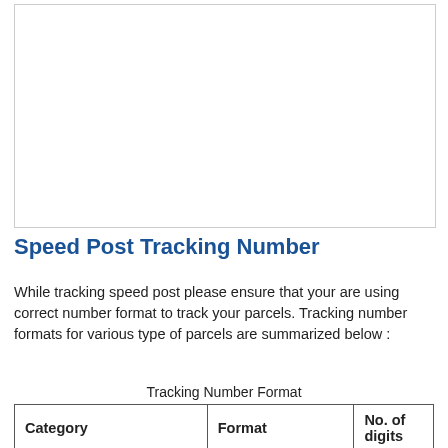[Figure (other): Empty white box with light border, likely placeholder for an image or diagram]
Speed Post Tracking Number
While tracking speed post please ensure that your are using correct number format to track your parcels. Tracking number formats for various type of parcels are summarized below :
Tracking Number Format
| Category | Format | No. of digits |
| --- | --- | --- |